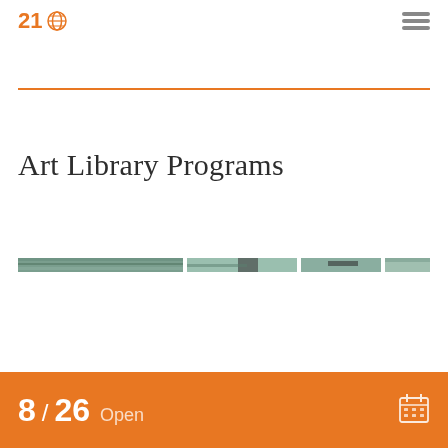21 [globe icon]
Art Library Programs
[Figure (photo): A horizontal image strip showing book spines or artwork in muted green and dark tones, segmented into several panels]
8 / 26  Open  [calendar icon]